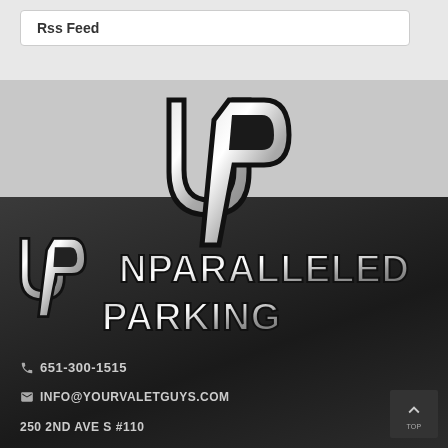Rss Feed
[Figure (logo): UP monogram logo in silver/chrome metallic style with black outline, interlocked U and P letters]
[Figure (logo): Unparalleled Parking full logo with UP monogram and text 'Unparalleled Parking' in chrome metallic style on dark background]
651-300-1515
INFO@YOURVALETGUYS.COM
250 2ND AVE S #110